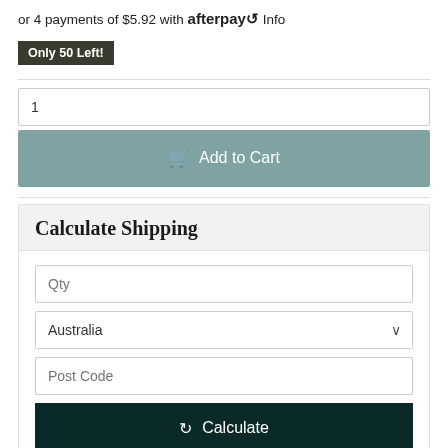or 4 payments of $5.92 with afterpay Info
Only 50 Left!
1
Add to Cart
Calculate Shipping
Qty
Australia
Post Code
Calculate